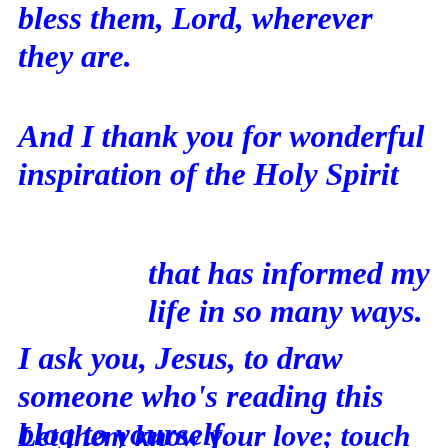bless them, Lord, wherever they are.
And I thank you for wonderful inspiration of the Holy Spirit
that has informed my life in so many ways.
I ask you, Jesus, to draw someone who's reading this blog to yourself.
Let them know your love; touch